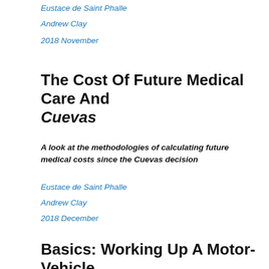Eustace de Saint Phalle
Andrew Clay
2018 November
The Cost Of Future Medical Care And Cuevas
A look at the methodologies of calculating future medical costs since the Cuevas decision
Eustace de Saint Phalle
Andrew Clay
2018 December
Basics: Working Up A Motor-Vehicle Accident Case